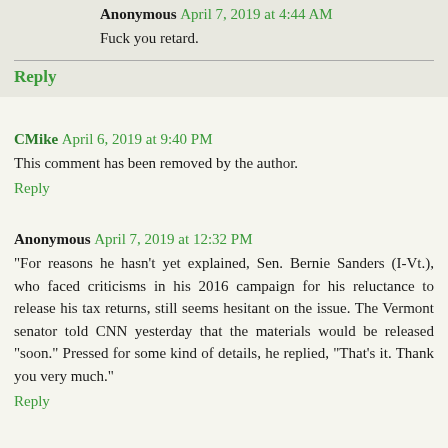Anonymous April 7, 2019 at 4:44 AM
Fuck you retard.
Reply
CMike April 6, 2019 at 9:40 PM
This comment has been removed by the author.
Reply
Anonymous April 7, 2019 at 12:32 PM
"For reasons he hasn't yet explained, Sen. Bernie Sanders (I-Vt.), who faced criticisms in his 2016 campaign for his reluctance to release his tax returns, still seems hesitant on the issue. The Vermont senator told CNN yesterday that the materials would be released "soon." Pressed for some kind of details, he replied, "That's it. Thank you very much."
Reply